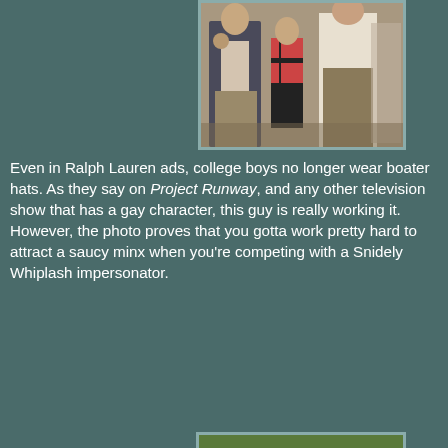[Figure (photo): Photograph of people at what appears to be an outdoor event; a man in a blazer and another person visible, with a child in checkered clothing in the background]
Even in Ralph Lauren ads, college boys no longer wear boater hats. As they say on Project Runway, and any other television show that has a gay character, this guy is really working it. However, the photo proves that you gotta work pretty hard to attract a saucy minx when you're competing with a Snidely Whiplash impersonator.
[Figure (photo): Photograph of a crowd of people at an outdoor sporting event or gathering, with green grass/field visible in the background; several people standing and talking in the foreground]